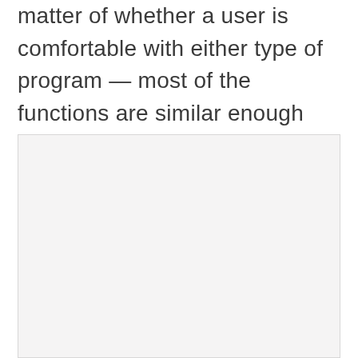matter of whether a user is comfortable with either type of program — most of the functions are similar enough that neither are really harder to learn.
[Figure (other): A blank light gray rectangular box, likely a placeholder for an image or figure.]